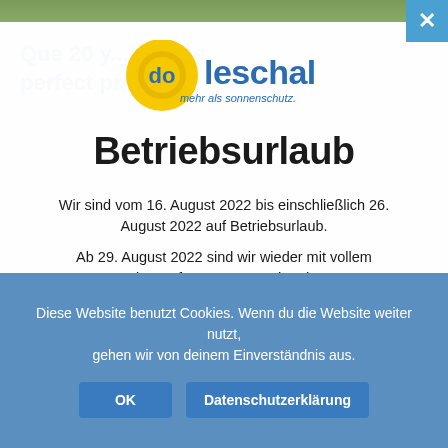[Figure (logo): Doleschal logo — yellow circle with 'do' letters and blue text 'leschal' with tagline 'mehr als sonnenschutz.']
Betriebsurlaub
Wir sind vom 16. August 2022 bis einschließlich 26. August 2022 auf Betriebsurlaub.
Ab 29. August 2022 sind wir wieder mit vollem Einsatz für unsere Kunden da.
Diese Website benutzt Cookies. Wenn du die Website weiter nutzt, gehen wir von deinem Einverständnis aus.